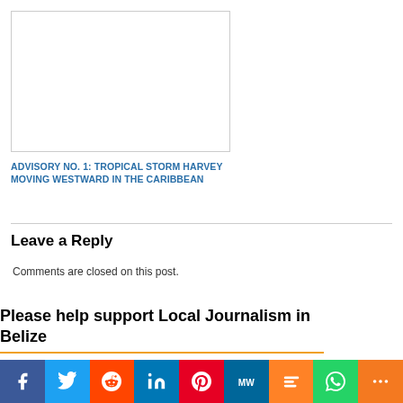[Figure (other): Blank white image placeholder with gray border]
ADVISORY NO. 1: TROPICAL STORM HARVEY MOVING WESTWARD IN THE CARIBBEAN
Leave a Reply
Comments are closed on this post.
Please help support Local Journalism in Belize
For the first time in the history of the island's community newspaper, The San Pedro Sun is appealing to their